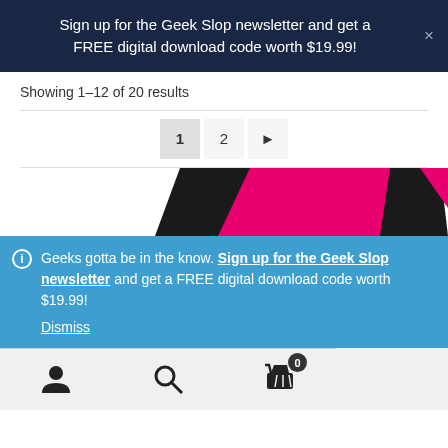Sign up for the Geek Slop newsletter and get a FREE digital download code worth $19.99!
Showing 1–12 of 20 results
[Figure (screenshot): Pagination controls showing page 1 (active), page 2, and a next arrow button]
[Figure (photo): Partial view of a pink and black product (appears to be gaming headset or similar accessory) visible at the bottom of the content area]
Geeks gotta be in the know. Sign up for the Geek Slop newsletter and get a FREE digital download code worth $19.99! Dismiss
Bottom toolbar with user account icon, search icon, and shopping cart icon with badge showing 0